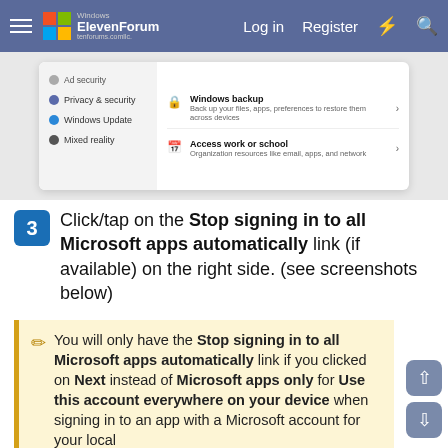Windows ElevenForum — Log in  Register
[Figure (screenshot): Windows 11 Settings panel showing Privacy & security, Windows Update, Mixed reality on the left sidebar, and Windows backup and Access work or school options on the right.]
3  Click/tap on the Stop signing in to all Microsoft apps automatically link (if available) on the right side. (see screenshots below)
You will only have the Stop signing in to all Microsoft apps automatically link if you clicked on Next instead of Microsoft apps only for Use this account everywhere on your device when signing in to an app with a Microsoft account for your local